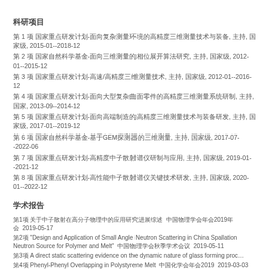科研项目
第 1 项 国家重点研发计划-面向复杂测量环境的高精度三维测量技术与装备, 主持, 国家级, 2015-01--2018-12
第 2 项 国家自然科学基金-面向三维测量的相位展开算法研究, 主持, 国家级, 2012-01--2015-12
第 3 项 国家重点研发计划-高速/高精度三维测量技术, 主持, 国家级, 2012-01--2016-12
第 4 项 国家重点研发计划-面向大型复杂曲面零件的高精度三维测量系统研制, 主持, 国家, 2013-09--2014-12
第 5 项 国家重点研发计划-面向高端制造的高精度三维测量技术与装备研发, 主持, 国家级, 2017-01--2019-12
第 6 项 国家自然科学基金-基于GEM探测器的三维测量, 主持, 国家级, 2017-07--2022-06
第 7 项 国家重点研发计划-高精度中子散射谱仪研制与应用, 主持, 国家级, 2019-01--2021-12
第 8 项 国家重点研发计划-高性能中子散射谱仪关键技术研发, 主持, 国家级, 2020-01--2022-12
学术报告
第1项 关于中子散射在高分子物理中的应用研究进展综述  中国物理学会年会2019年会  2019-05-17
第2项 "Design and Application of Small Angle Neutron Scattering in China Spallation Neutron Source for Polymer and Melt"  中国物理学会秋季学术会议  2019-05-11
第3项 A direct static scattering evidence on the dynamic nature of glass forming process
第4项 Phenyl-Phenyl Overlapping in Polystyrene Melt  中国化学会年会2019  2019-03-03
第5项 中子散射技术及其在高分子领域中的应用研究  高分子学报31卷  2018-05-04
第6项 Thermodaynamic Origin of Cononsolvency  高分子学报第3期2018  2018-03-05
第7项 高分子链在本体和溶液中的运动  中国物理学会年会  2017-10-10